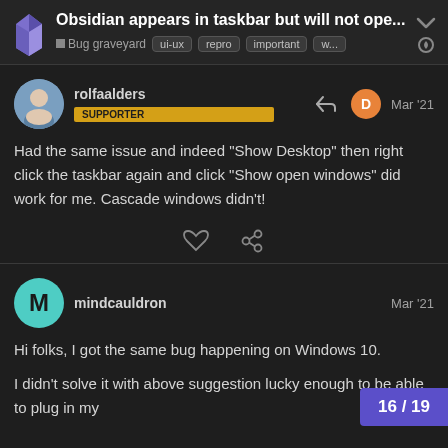Obsidian appears in taskbar but will not ope... | Bug graveyard | ui-ux | repro | important | w...
Had the same issue and indeed “Show Desktop” then right click the taskbar again and click “Show open windows” did work for me. Cascade windows didn’t!
Hi folks, I got the same bug happening on Windows 10.

I didn’t solve it with above suggestion lucky enough to be able to plug in my